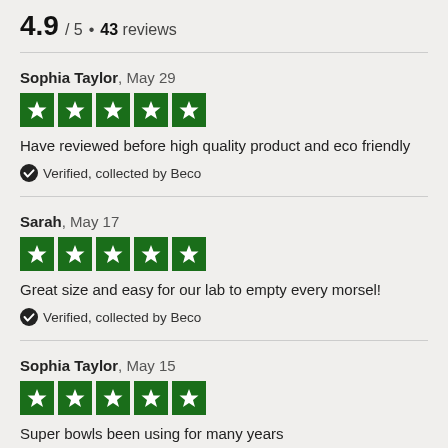4.9 / 5 • 43 reviews
Sophia Taylor, May 29
[Figure (other): 5 green star rating boxes]
Have reviewed before high quality product and eco friendly
✓ Verified, collected by Beco
Sarah, May 17
[Figure (other): 5 green star rating boxes]
Great size and easy for our lab to empty every morsel!
✓ Verified, collected by Beco
Sophia Taylor, May 15
[Figure (other): 5 green star rating boxes]
Super bowls been using for many years